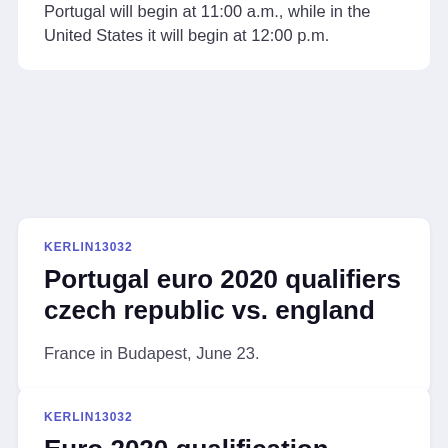Portugal will begin at 11:00 a.m., while in the United States it will begin at 12:00 p.m.
KERLIN13032
Portugal euro 2020 qualifiers czech republic vs. england
France in Budapest, June 23.
KERLIN13032
Euro 2020 qualification playoffs